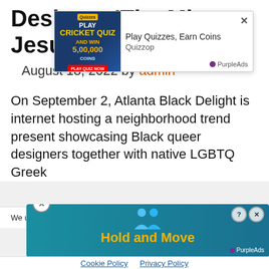Designer 'The Mint Jesus'
August 18, 2022 by admin
On September 2, Atlanta Black Delight is internet hosting a neighborhood trend present showcasing Black queer designers together with native LGBTQ Greek
[Figure (screenshot): Advertisement overlay: Cricket Quiz - Play Quizzes, Earn Coins. Quizzop. PurpleAds branding.]
We use cookies to optimize our website and our service.
[Figure (screenshot): Bottom advertisement banner: Hold and Move. PurpleAds branding.]
Cookie Policy   Privacy Policy